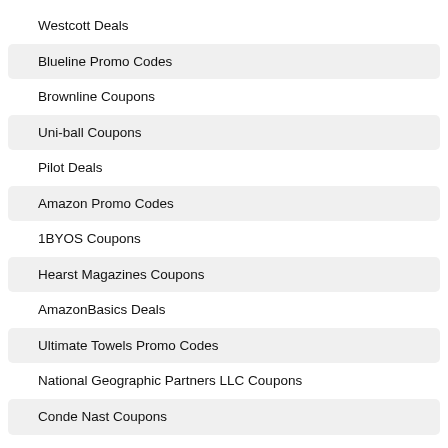Westcott Deals
Blueline Promo Codes
Brownline Coupons
Uni-ball Coupons
Pilot Deals
Amazon Promo Codes
1BYOS Coupons
Hearst Magazines Coupons
AmazonBasics Deals
Ultimate Towels Promo Codes
National Geographic Partners LLC Coupons
Conde Nast Coupons
Zestkit Deals
Trusted Media Brands, Inc. Promo Codes